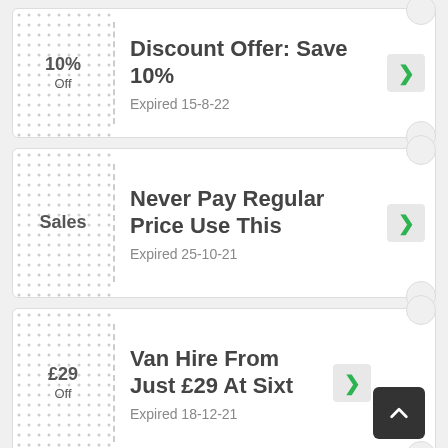10% Off
Discount Offer: Save 10%
Expired 15-8-22
Sales
Never Pay Regular Price Use This
Expired 25-10-21
£29 Off
Van Hire From Just £29 At Sixt
Expired 18-12-21